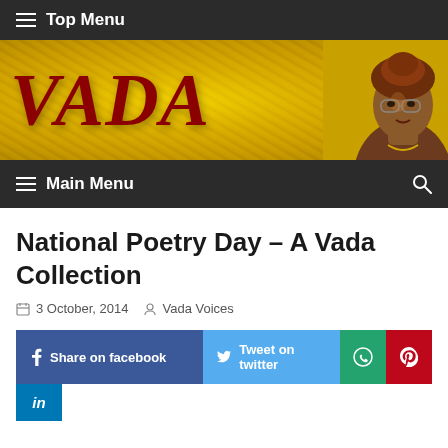≡ Top Menu
[Figure (illustration): VADA website banner with gold glitter background, large dark red italic VADA text on left, and a Black woman wearing glasses and headwrap on the right]
≡ Main Menu 🔍
National Poetry Day – A Vada Collection
3 October, 2014   Vada Voices
f Share on facebook   Tweet on twitter   [WhatsApp icon]   [Pinterest icon]   in